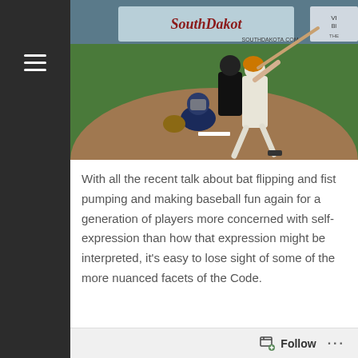[Figure (photo): Baseball game photo showing a batter swinging, a catcher crouching, and an umpire behind home plate. South Dakota advertisement visible in the background on the outfield wall.]
With all the recent talk about bat flipping and fist pumping and making baseball fun again for a generation of players more concerned with self-expression than how that expression might be interpreted, it’s easy to lose sight of some of the more nuanced facets of the Code.
Follow ...